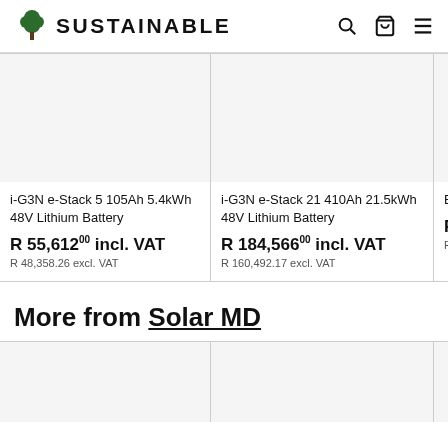SUSTAINABLE
i-G3N e-Stack 5 105Ah 5.4kWh 48V Lithium Battery
R 55,612.00 incl. VAT
R 48,358.26 excl. VAT
i-G3N e-Stack 21 410Ah 21.5kWh 48V Lithium Battery
R 184,566.00 incl. VAT
R 160,492.17 excl. VAT
BYD 15.4... Premium... Battery...
R 137,...
R 119,539...
More from Solar MD